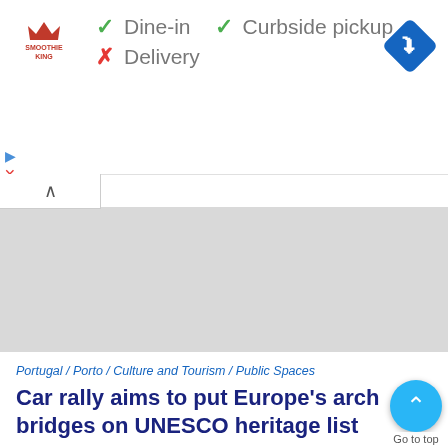[Figure (screenshot): Ad banner for Smoothie King with dine-in, curbside pickup (checkmarks) and delivery (cross) options, and a blue navigation/directions diamond icon.]
[Figure (map): Gray placeholder map area with a collapse/minimize tab in the top-left corner.]
Portugal / Porto / Culture and Tourism / Public Spaces
Car rally aims to put Europe's arch bridges on UNESCO heritage list
Aptly named Six Bridges Rally, this trans-continental initiative excitement about Europe's marvellous industrial heritage